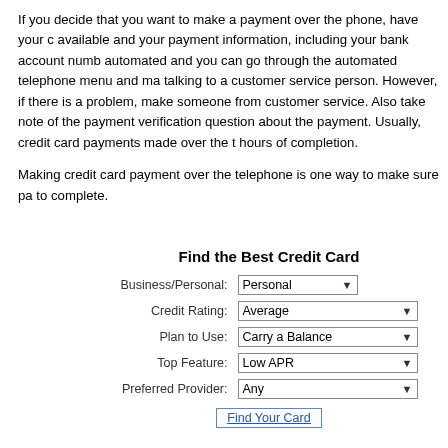If you decide that you want to make a payment over the phone, have your c available and your payment information, including your bank account numb automated and you can go through the automated telephone menu and ma talking to a customer service person. However, if there is a problem, make someone from customer service. Also take note of the payment verification question about the payment. Usually, credit card payments made over the t hours of completion.
Making credit card payment over the telephone is one way to make sure pa to complete.
Find the Best Credit Card
| Field | Value |
| --- | --- |
| Business/Personal: | Personal ▾ |
| Credit Rating: | Average ▾ |
| Plan to Use: | Carry a Balance ▾ |
| Top Feature: | Low APR ▾ |
| Preferred Provider: | Any ▾ |
Find Your Card